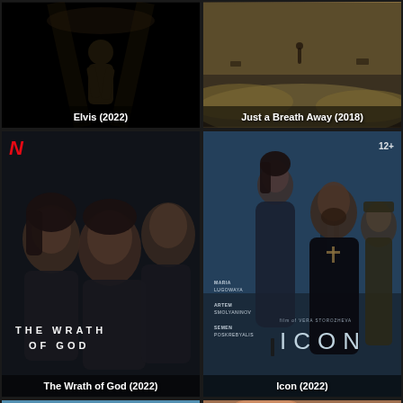[Figure (photo): Movie poster/thumbnail for Elvis (2022) - dark background with title text overlay]
Elvis (2022)
[Figure (photo): Movie poster/thumbnail for Just a Breath Away (2018) - desert/apocalyptic scene with figure in background]
Just a Breath Away (2018)
[Figure (photo): Movie poster for The Wrath of God (2022) - Netflix film with three faces and title text, dark moody thriller]
The Wrath of God (2022)
[Figure (photo): Movie poster for Icon (2022) - WWII drama with woman, priest, and soldier, 12+ rating]
Icon (2022)
[Figure (photo): Movie poster/thumbnail showing young couple in outdoor setting with blue sky]
[Figure (photo): Movie poster/thumbnail for Losing - shows legs/lower body with partial title text visible]